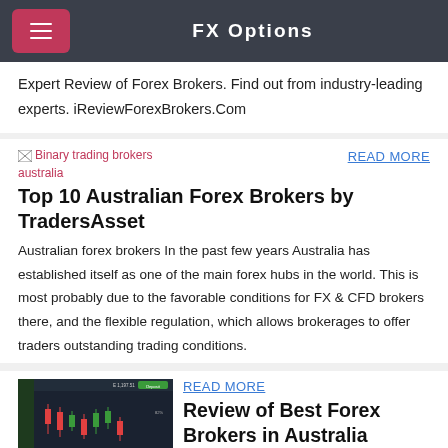FX Options
Expert Review of Forex Brokers. Find out from industry-leading experts. iReviewForexBrokers.Com
[Figure (other): Broken image placeholder for binary trading brokers australia]
READ MORE
Top 10 Australian Forex Brokers by TradersAsset
Australian forex brokers In the past few years Australia has established itself as one of the main forex hubs in the world. This is most probably due to the favorable conditions for FX & CFD brokers there, and the flexible regulation, which allows brokerages to offer traders outstanding trading conditions.
[Figure (screenshot): Screenshot of a forex trading platform chart showing candlestick data]
READ MORE
Review of Best Forex Brokers in Australia